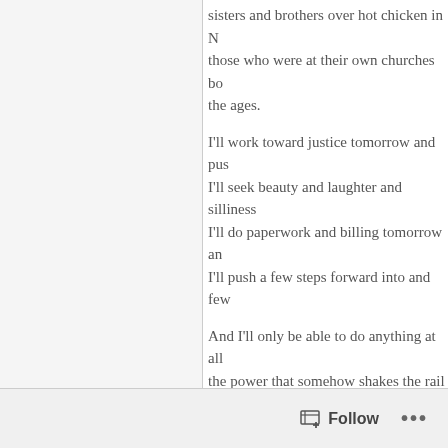sisters and brothers over hot chicken in N… those who were at their own churches bo… the ages.
I'll work toward justice tomorrow and pu… I'll seek beauty and laughter and silliness… I'll do paperwork and billing tomorrow an… I'll push a few steps forward into and few…
And I'll only be able to do anything at all the power that somehow shakes the rail whether at a nursery in Cape Town or over hot chicken in Nashville or the altar at my little church.
His kingdom comes.
djordan
Pine Tree Dr.
Follow ...